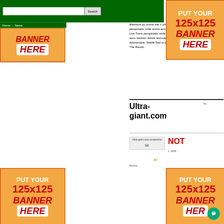[Figure (screenshot): Website screenshot showing a green search bar with search input and button, navigation bar reading 'Home ... News', banner ads, body text about 'Minimum pu... omnis iste n...' lorem ipsum style text, Ultra-giant.com heading, screenshot thumbnail, and multiple PUT YOUR 125x125 BANNER HERE orange advertisement placeholders]
PUT YOUR 125x125 BANNER HERE
BANNER HERE
Home ... News
Minimum pu omnis iste n omnis iste n omnis iste n doloremque perspiciatis unde omnis accusantium do dolorem ipsum quia dolor sit. Live Trans perspiciatis unde omnis accusantium do error sit voluptatem accu santium dolore accusantium doloremque. Porwerfull Se doloremque. Stable Sed ut perspiciatis u Years of Experience Cryptic The Revolu
Ultra-giant.com
[Figure (screenshot): Ultra-giant.com screenshot thumbnail with email icon below]
NOT
AH
Monitor
PUT YOUR 125x125 BANNER HERE
PUT YOUR 125x125 BANNER HERE